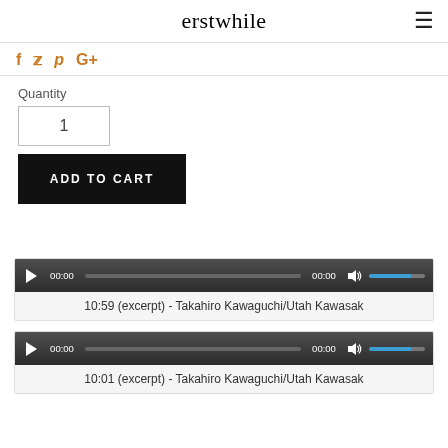erstwhile
f  twitter  p  G+
Quantity
1
ADD TO CART
[Figure (screenshot): Audio player bar with play button, 00:00 time display, progress track, 00:00 time display, volume icon, and blue volume bar]
10:59 (excerpt) - Takahiro Kawaguchi/Utah Kawasak
[Figure (screenshot): Audio player bar with play button, 00:00 time display, progress track, 00:00 time display, volume icon, and blue volume bar]
10:01 (excerpt) - Takahiro Kawaguchi/Utah Kawasak